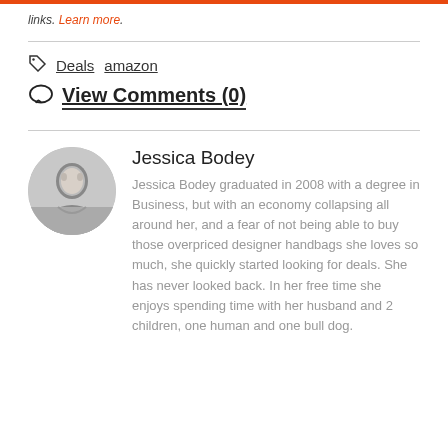links. Learn more.
Deals   amazon
View Comments (0)
Jessica Bodey
Jessica Bodey graduated in 2008 with a degree in Business, but with an economy collapsing all around her, and a fear of not being able to buy those overpriced designer handbags she loves so much, she quickly started looking for deals. She has never looked back. In her free time she enjoys spending time with her husband and 2 children, one human and one bull dog.